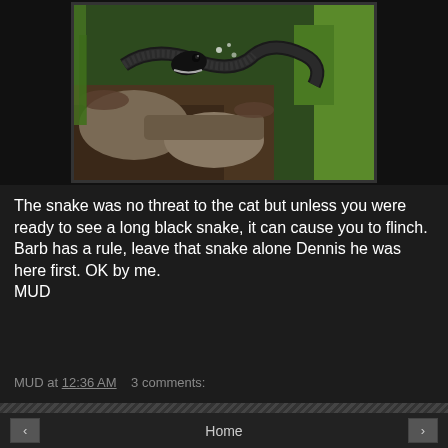[Figure (photo): Close-up photo of a black snake among leaves, rocks and green vegetation]
The snake was no threat to the cat but unless you were ready to see a long black snake, it can cause you to flinch. Barb has a rule, leave that snake alone Dennis he was here first. OK by me.
MUD
MUD at 12:36 AM   3 comments:
Home